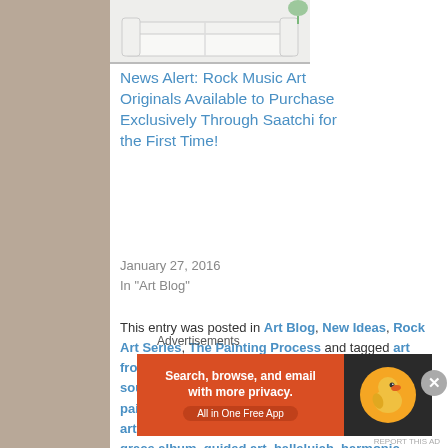[Figure (photo): Photo of a white sofa/couch with cushions]
News Alert: Rock Music Art Originals Available to Purchase Exclusively Through Saatchi for the First Time!
January 27, 2016
In "Art Blog"
This entry was posted in Art Blog, New Ideas, Rock Art Series, The Painting Process and tagged art from the heart, artists, cherie roe dirksen, comsic sound, demi moore, desire, emotions behind painting, emotions of music, engaging the senses art, exhibition, ghost, ghost the movie, grace, grace album, guided art, hallelujah, harmonic convergence, healing through art, healing through music, heart centered art, heart-centered painting, heartbreak,
Advertisements
[Figure (screenshot): DuckDuckGo advertisement banner: Search, browse, and email with more privacy. All in One Free App]